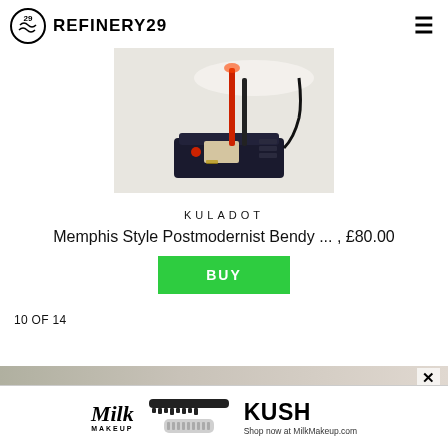REFINERY29
[Figure (photo): Product photo of a Memphis Style Postmodernist Bendy lamp on a dark plastic base with red and black colored poles, shown on a white background.]
KULADOT
Memphis Style Postmodernist Bendy ... , £80.00
BUY
10 OF 14
[Figure (photo): Bottom portion of page showing a partial image and an advertisement banner for Milk Makeup KUSH mascara with text 'Shop now at MilkMakeup.com']